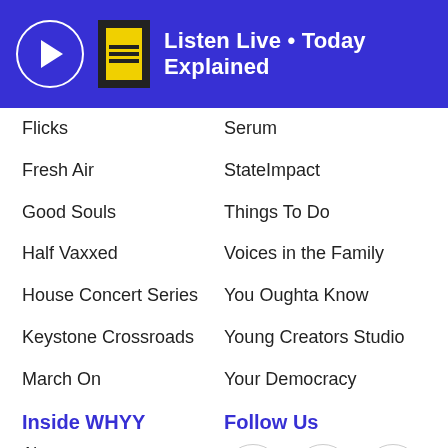Listen Live • Today Explained
Flicks
Serum
Fresh Air
StateImpact
Good Souls
Things To Do
Half Vaxxed
Voices in the Family
House Concert Series
You Oughta Know
Keystone Crossroads
Young Creators Studio
March On
Your Democracy
Inside WHYY
Follow Us
About
Meet Our Newsroom
Employment
Sounding Board
N.I.C.E. Initiative
[Figure (illustration): Social media icons: Facebook, Twitter, Instagram, YouTube in circular outlines]